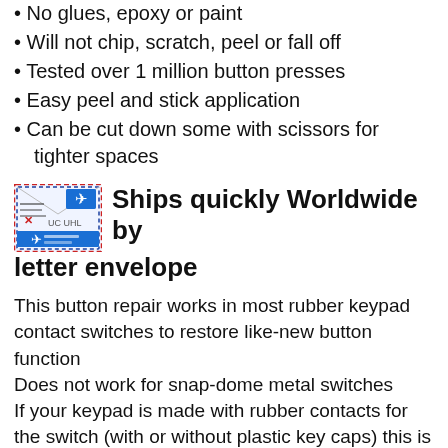No glues, epoxy or paint
Will not chip, scratch, peel or fall off
Tested over 1 million button presses
Easy peel and stick application
Can be cut down some with scissors for tighter spaces
[Figure (illustration): Airmail/letter envelope icon with airplane graphics and red/blue border]
Ships quickly Worldwide by letter envelope
This button repair works in most rubber keypad contact switches to restore like-new button function
Does not work for snap-dome metal switches
If your keypad is made with rubber contacts for the switch (with or without plastic key caps) this is what you need to restore function permanently. BUT since there are countless designs of rubber buttons there may be some that are too tightly packed or unusual construction that do not allow a universal button to operate properly. If this does not work for what you need - LET ME